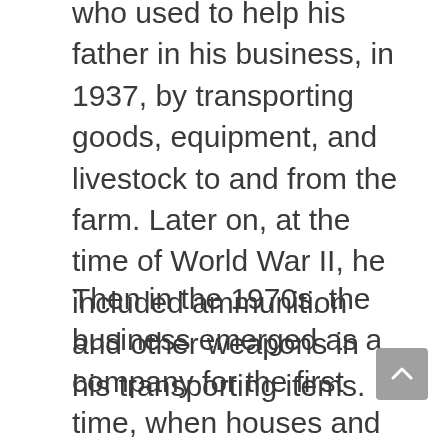who used to help his father in his business, in 1937, by transporting goods, equipment, and livestock to and from the farm. Later on, at the time of World War II, he included ammunition and other weapons in his transporting items.
Then in the 1970s, the business emerged as a company for the first time, when houses and coal, alongside equipment, also began to be transported by this company. But in 2008, Elmer Buchta decided to handover the company to the Wright Family Investment Group.
The company was already flourishing, though; it prospered exponentially since it